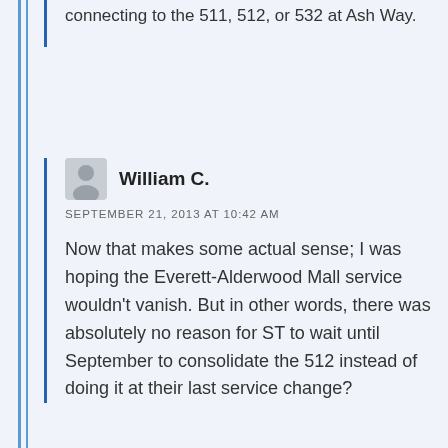connecting to the 511, 512, or 532 at Ash Way.
William C.
SEPTEMBER 21, 2013 AT 10:42 AM
Now that makes some actual sense; I was hoping the Everett-Alderwood Mall service wouldn't vanish. But in other words, there was absolutely no reason for ST to wait until September to consolidate the 512 instead of doing it at their last service change?